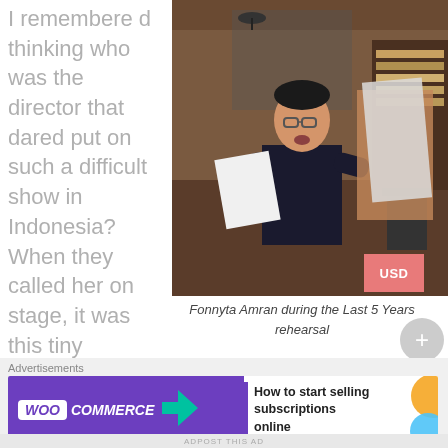I remembered thinking who was the director that dared put on such a difficult show in Indonesia? When they called her on stage, it was this tiny figure of a lady, a head shorter than everyone else. Her
[Figure (photo): A man holding papers during a rehearsal, wearing a black t-shirt that reads 'Sorry I Can't I Have A Rehearsal', standing in a room with other people.]
Fonnyta Amran during the Last 5 Years rehearsal
Advertisements
[Figure (other): WooCommerce advertisement banner: 'How to start selling subscriptions online']